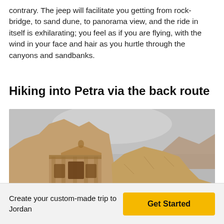contrary. The jeep will facilitate you getting from rock-bridge, to sand dune, to panorama view, and the ride in itself is exhilarating; you feel as if you are flying, with the wind in your face and hair as you hurtle through the canyons and sandbanks.
Hiking into Petra via the back route
[Figure (photo): Hikers approaching the ancient Monastery (Ad Deir) in Petra, Jordan. Large carved rock facade visible in background, surrounded by rugged sandstone mountains under an overcast sky. Several people with backpacks walking along a desert path in the foreground.]
Create your custom-made trip to Jordan
Get Started